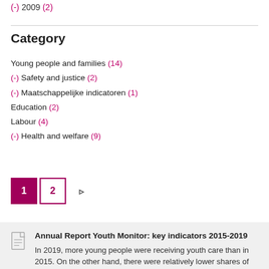(-) 2009 (2)
Category
Young people and families (14)
(-) Safety and justice (2)
(-) Maatschappelijke indicatoren (1)
Education (2)
Labour (4)
(-) Health and welfare (9)
1  2  ▷
Annual Report Youth Monitor: key indicators 2015-2019
In 2019, more young people were receiving youth care than in 2015. On the other hand, there were relatively lower shares of young